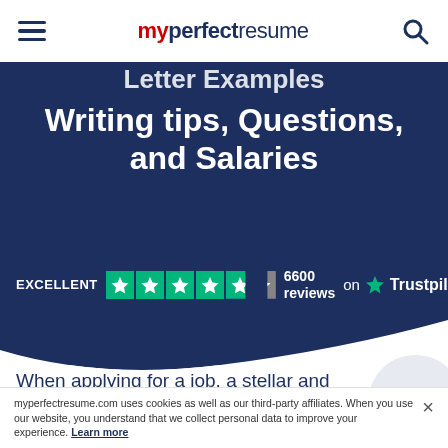myperfectresume
Writing tips, Questions, and Salaries
EXCELLENT  6600 reviews  on Trustpilot
When applying for a job, a stellar and professional CV can make a major diffe...
myperfectresume.com uses cookies as well as our third-party affiliates. When you use our website, you understand that we collect personal data to improve your experience. Learn more